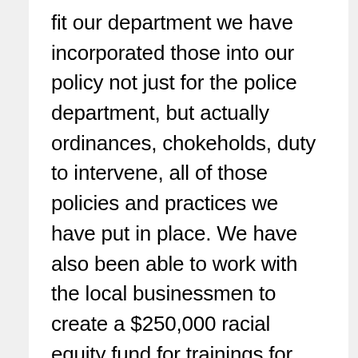fit our department we have incorporated those into our policy not just for the police department, but actually ordinances, chokeholds, duty to intervene, all of those policies and practices we have put in place. We have also been able to work with the local businessmen to create a $250,000 racial equity fund for trainings for our police department. We have incorporated CIT training, which is crisis intervention training, and partnered with one of our mental health providers that when we have situations we have mental health counselors that go to the scenes of incidents so that we could make sure that we get the correct help in those situations.